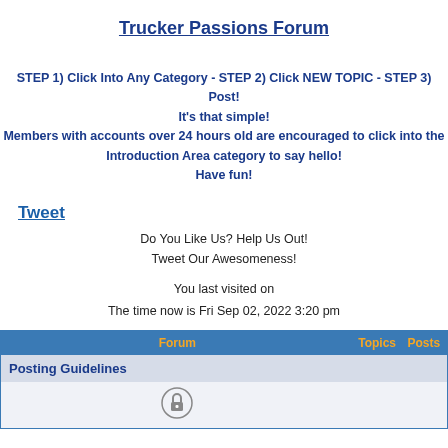Trucker Passions Forum
STEP 1) Click Into Any Category - STEP 2) Click NEW TOPIC - STEP 3) Post!
It's that simple!
Members with accounts over 24 hours old are encouraged to click into the Introduction Area category to say hello!
Have fun!
Tweet
Do You Like Us? Help Us Out!
Tweet Our Awesomeness!
You last visited on
The time now is Fri Sep 02, 2022 3:20 pm
| Forum | Topics | Posts |
| --- | --- | --- |
| Posting Guidelines |  |  |
| [lock icon] |  |  |